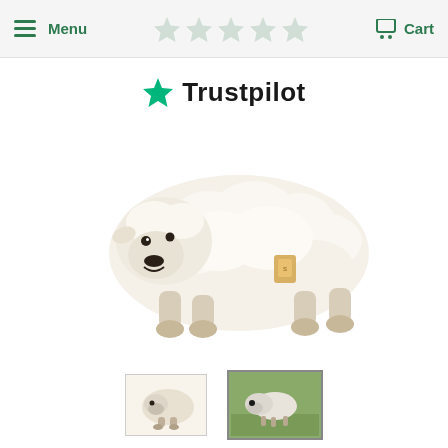Menu   Cart
[Figure (logo): Trustpilot logo with green star and green text 'Trustpilot']
[Figure (photo): White plush lamb/sheep stuffed animal toy lying down, with beige hooves and a small tag on its back. White background.]
[Figure (photo): Small thumbnail of the same white lamb plush toy from further away]
[Figure (photo): Thumbnail photo of what appears to be a real white lamb/sheep outside on grass]